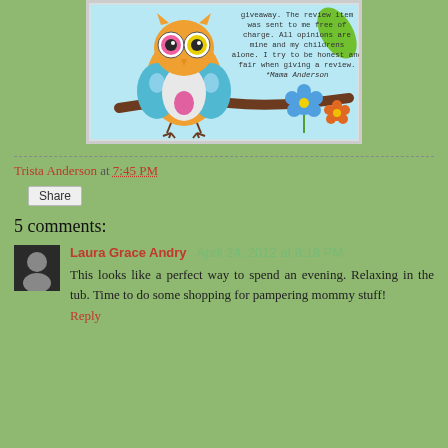[Figure (illustration): Colorful cartoon owl sitting on a branch with flowers and text about review/giveaway policy signed *Mama Anderson]
Trista Anderson at 7:45 PM
Share
5 comments:
Laura Grace Andry  April 24, 2012 at 8:18 PM
This looks like a perfect way to spend an evening. Relaxing in the tub. Time to do some shopping for pampering mommy stuff!
Reply